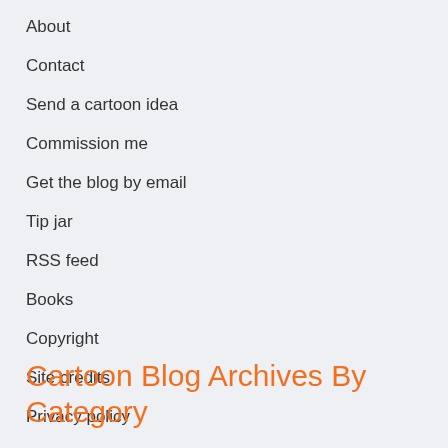About
Contact
Send a cartoon idea
Commission me
Get the blog by email
Tip jar
RSS feed
Books
Copyright
Site credits
Privacy policy
Cartoon Blog Archives By Category